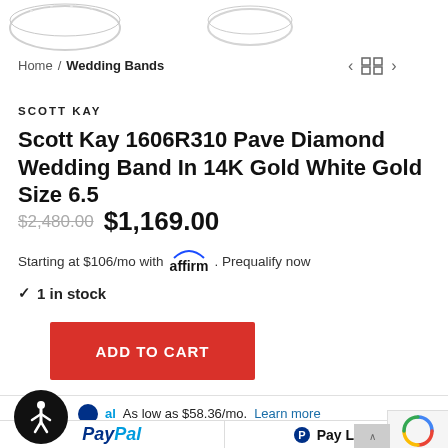[Figure (photo): Partial view of two diamond wedding band rings at the top of the page]
Home / Wedding Bands
SCOTT KAY
Scott Kay 1606R310 Pave Diamond Wedding Band In 14K Gold White Gold Size 6.5
$2,480.00  $1,169.00
Starting at $106/mo with affirm. Prequalify now
✓ 1 in stock
ADD TO CART
As low as $58.36/mo. Learn more
PayPal
Pay Later